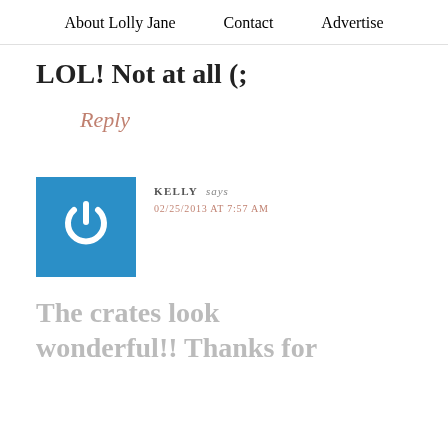About Lolly Jane   Contact   Advertise
LOL! Not at all (;
Reply
[Figure (logo): Blue square avatar icon with a white power button symbol]
KELLY says
02/25/2013 AT 7:57 AM
The crates look wonderful!! Thanks for